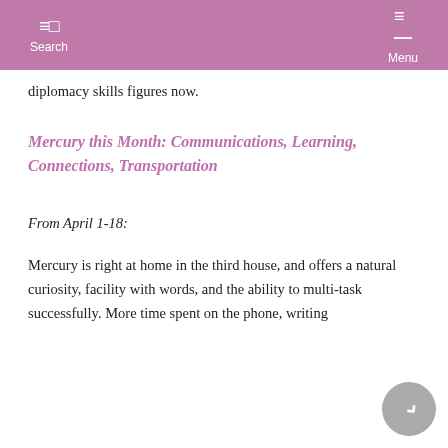Search  Menu
diplomacy skills figures now.
Mercury this Month: Communications, Learning, Connections, Transportation
From April 1-18:
Mercury is right at home in the third house, and offers a natural curiosity, facility with words, and the ability to multi-task successfully. More time spent on the phone, writing